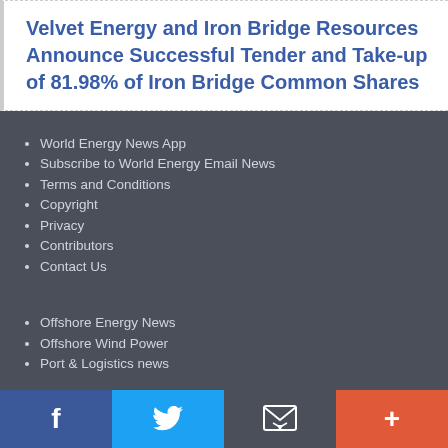Velvet Energy and Iron Bridge Resources Announce Successful Tender and Take-up of 81.98% of Iron Bridge Common Shares
World Energy News App
Subscribe to World Energy Email News
Terms and Conditions
Copyright
Privacy
Contributors
Contact Us
Offshore Energy News
Offshore Wind Power
Port & Logistics news
Maritime News
Maritime Directory
Maritime Magazines